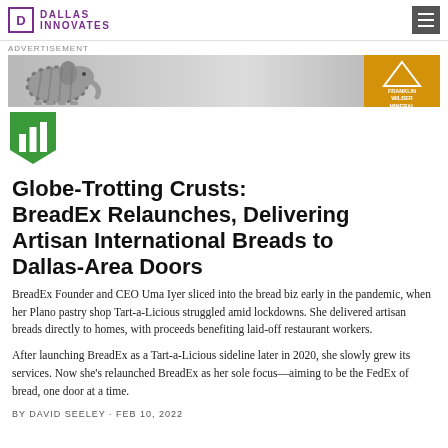D DALLAS INNOVATES
[Figure (illustration): Advertisement banner with a zebra-striped elephant illustration on a grey gradient background with a gold badge on the right]
ADVERTISEMENT
[Figure (logo): Green shield/pentagon icon with three white vertical bar chart bars]
Globe-Trotting Crusts: BreadEx Relaunches, Delivering Artisan International Breads to Dallas-Area Doors
BreadEx Founder and CEO Uma Iyer sliced into the bread biz early in the pandemic, when her Plano pastry shop Tart-a-Licious struggled amid lockdowns. She delivered artisan breads directly to homes, with proceeds benefiting laid-off restaurant workers.
After launching BreadEx as a Tart-a-Licious sideline later in 2020, she slowly grew its services. Now she's relaunched BreadEx as her sole focus—aiming to be the FedEx of bread, one door at a time.
BY DAVID SEELEY · FEB 10, 2022